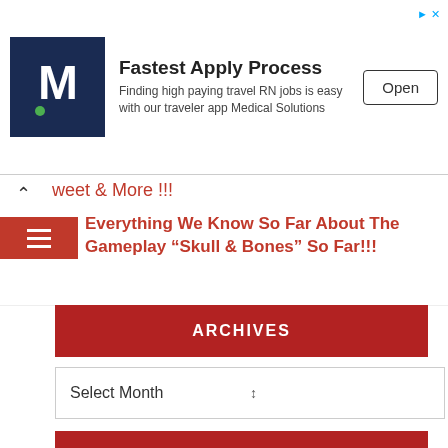[Figure (infographic): Advertisement banner for Medical Solutions travel RN jobs app with M logo, title 'Fastest Apply Process', subtitle text, and Open button]
weet & More !!!
Everything We Know So Far About The Gameplay “Skull & Bones” So Far!!!
ARCHIVES
Select Month
CATEGORIES
CELEBRITY